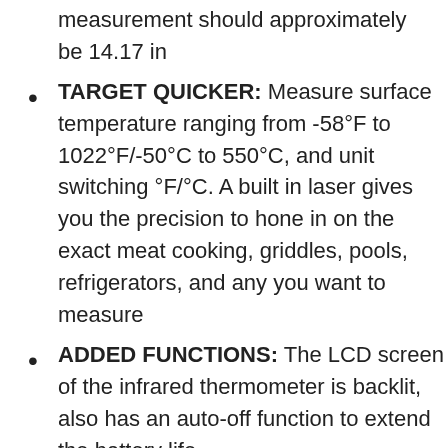measurement should approximately be 14.17 in
TARGET QUICKER: Measure surface temperature ranging from -58°F to 1022°F/-50°C to 550°C, and unit switching °F/°C. A built in laser gives you the precision to hone in on the exact meat cooking, griddles, pools, refrigerators, and any you want to measure
ADDED FUNCTIONS: The LCD screen of the infrared thermometer is backlit, also has an auto-off function to extend the battery life,